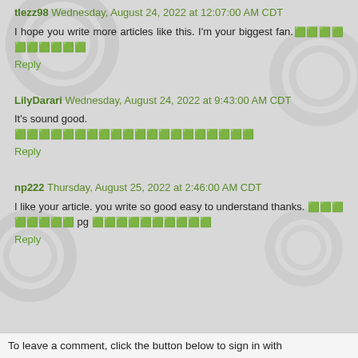tlezz98 Wednesday, August 24, 2022 at 12:07:00 AM CDT
I hope you write more articles like this. I'm your biggest fan.🟩🟩🟩🟩🟩🟩🟩🟩🟩🟩
Reply
LilyDarari Wednesday, August 24, 2022 at 9:43:00 AM CDT
It's sound good.
🟩🟩🟩🟩🟩🟩🟩🟩🟩🟩🟩🟩🟩🟩🟩🟩🟩🟩🟩🟩
Reply
np222 Thursday, August 25, 2022 at 2:46:00 AM CDT
I like your article. you write so good easy to understand thanks. 🟩🟩🟩🟩🟩🟩🟩🟩 pg 🟩🟩🟩🟩🟩🟩🟩🟩🟩🟩
Reply
To leave a comment, click the button below to sign in with